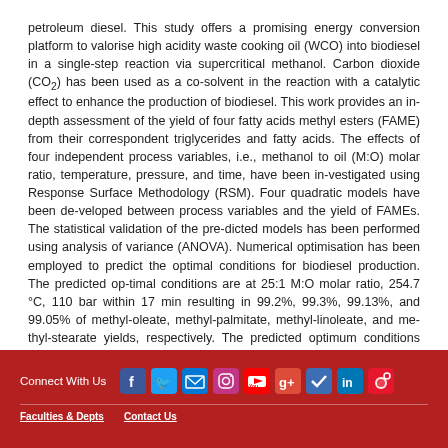petroleum diesel. This study offers a promising energy conversion platform to valorise high acidity waste cooking oil (WCO) into biodiesel in a single-step reaction via supercritical methanol. Carbon dioxide (CO2) has been used as a co-solvent in the reaction with a catalytic effect to enhance the production of biodiesel. This work provides an in-depth assessment of the yield of four fatty acids methyl esters (FAME) from their correspondent triglycerides and fatty acids. The effects of four independent process variables, i.e., methanol to oil (M:O) molar ratio, temperature, pressure, and time, have been investigated using Response Surface Methodology (RSM). Four quadratic models have been de-veloped between process variables and the yield of FAMEs. The statistical validation of the pre-dicted models has been performed using analysis of variance (ANOVA). Numerical optimisation has been employed to predict the optimal conditions for biodiesel production. The predicted op-timal conditions are at 25:1 M:O molar ratio, 254.7 °C, 110 bar within 17 min resulting in 99.2%, 99.3%, 99.13%, and 99.05% of methyl-oleate, methyl-palmitate, methyl-linoleate, and me-thyl-stearate yields, respectively. The predicted optimum conditions have been validated ex-perimentally.
Connect With Us | Faculties & Depts | Contact Us